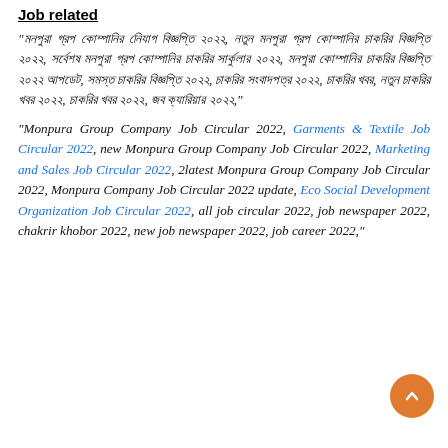Job related
“মনপুরা গ্রপ কোম্পানির নিযোগ বিজ্ঞপ্তি ২০২২, নতুন মনপুরা গ্রপ কোম্পানির চাকরির বিজ্ঞপ্তি ২০২২, সর্বেশষ মনপুরা গ্রপ কোম্পানির চাকরির সার্কুলার ২০২২, মনপুরা কোম্পানির চাকরির বিজ্ঞপ্তি ২০২২ আপডেট, সমস্ত চাকরির বিজ্ঞপ্তি ২০২২, চাকরির সংবাদপত্র ২০২২, চাকরির খবর, নতুন চাকরির খবর ২০২২, চাকরির খবর ২০২২, জব ক্যারিয়ার ২০২২,”
“Monpura Group Company Job Circular 2022, Garments & Textile Job Circular 2022, new Monpura Group Company Job Circular 2022, Marketing and Sales Job Circular 2022, 2latest Monpura Group Company Job Circular 2022, Monpura Company Job Circular 2022 update, Eco Social Development Organization Job Circular 2022, all job circular 2022, job newspaper 2022, chakrir khobor 2022, new job newspaper 2022, job career 2022,”